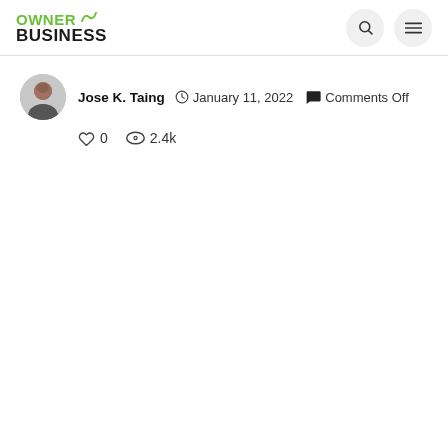OWNER BUSINESS
Jose K. Taing  January 11, 2022  Comments Off  0  2.4k